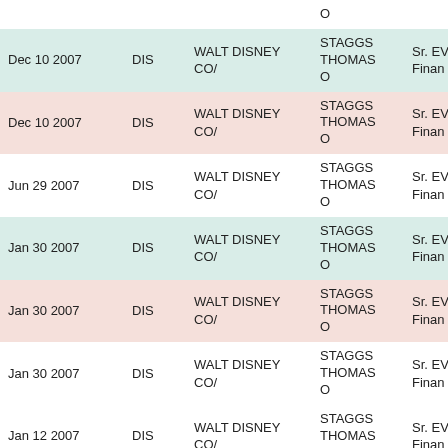| Date | Ticker | Company | Name | Title |
| --- | --- | --- | --- | --- |
|  |  |  | STAGGS THOMAS O |  |
| Dec 10 2007 | DIS | WALT DISNEY CO/ | STAGGS THOMAS O | Sr. EVP & Chief Finan ... |
| Dec 10 2007 | DIS | WALT DISNEY CO/ | STAGGS THOMAS O | Sr. EVP & Chief Finan ... |
| Jun 29 2007 | DIS | WALT DISNEY CO/ | STAGGS THOMAS O | Sr. EVP & Chief Finan ... |
| Jan 30 2007 | DIS | WALT DISNEY CO/ | STAGGS THOMAS O | Sr. EVP & Chief Finan ... |
| Jan 30 2007 | DIS | WALT DISNEY CO/ | STAGGS THOMAS O | Sr. EVP & Chief Finan ... |
| Jan 30 2007 | DIS | WALT DISNEY CO/ | STAGGS THOMAS O | Sr. EVP & Chief Finan ... |
| Jan 12 2007 | DIS | WALT DISNEY CO/ | STAGGS THOMAS O | Sr. EVP & Chief Finan ... |